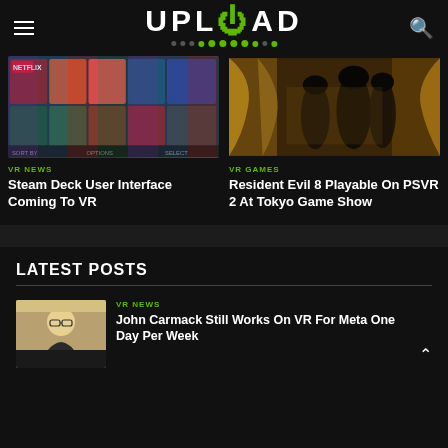UPLOAD
[Figure (screenshot): Steam Deck user interface showing game library grid]
VR NEWS
Steam Deck User Interface Coming To VR
[Figure (screenshot): Resident Evil 8 dark atmospheric scene with hooded figures]
VR GAMES
Resident Evil 8 Playable On PSVR 2 At Tokyo Game Show
LATEST POSTS
[Figure (photo): Photo of John Carmack, man with glasses]
VR NEWS
John Carmack Still Works On VR For Meta One Day Per Week